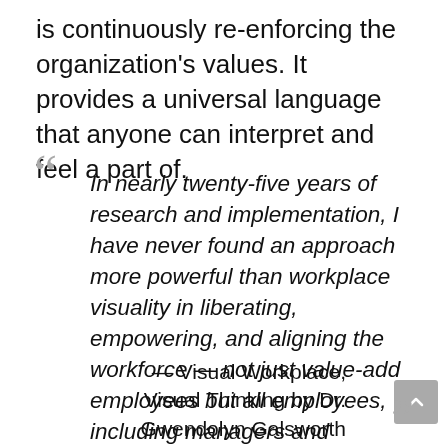is continuously re-enforcing the organization's values. It provides a universal language that anyone can interpret and feel a part of.
In nearly twenty-five years of research and implementation, I have never found an approach more powerful than workplace visuality in liberating, empowering, and aligning the workforce — not just value-add employees but all employees, including managers and executives.
— Visual Workplace, Visual Thinking by Dr. Gwendolyn Galsworth